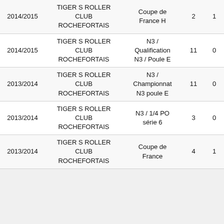| Saison | Club | Compétition | Col4 | Col5 |
| --- | --- | --- | --- | --- |
| 2014/2015 | TIGER S ROLLER CLUB ROCHEFORTAIS | Coupe de France H | 2 | 1 |
| 2014/2015 | TIGER S ROLLER CLUB ROCHEFORTAIS | N3 / Qualification N3 / Poule E | 11 | 0 |
| 2013/2014 | TIGER S ROLLER CLUB ROCHEFORTAIS | N3 / Championnat N3 poule E | 11 | 0 |
| 2013/2014 | TIGER S ROLLER CLUB ROCHEFORTAIS | N3 / 1/4 PO série 6 | 3 | 0 |
| 2013/2014 | TIGER S ROLLER CLUB ROCHEFORTAIS | Coupe de France | 4 | 1 |